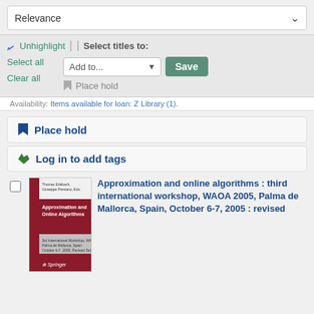Relevance
Unhighlight | | Select titles to:
Select all
Add to...
Save
Clear all
Place hold
Availability: Items available for loan: Z Library (1).
Place hold
Log in to add tags
[Figure (illustration): Book cover of 'Approximation and Online Algorithms' — dark red/maroon cover with white title text, Springer publisher logo at bottom]
Approximation and online algorithms : third international workshop, WAOA 2005, Palma de Mallorca, Spain, October 6-7, 2005 : revised